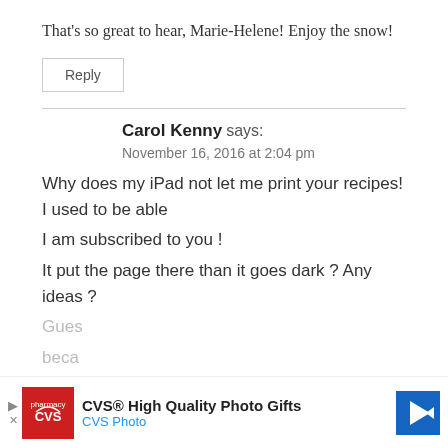That's so great to hear, Marie-Helene! Enjoy the snow!
Reply
Carol Kenny says:
November 16, 2016 at 2:04 pm
Why does my iPad not let me print your recipes! I used to be able
I am subscribed to you !
It put the page there than it goes dark ? Any ideas ?
CVS® High Quality Photo Gifts
CVS Photo